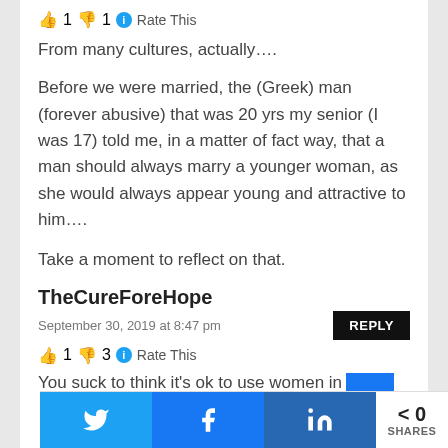👍 1 👎 1 ℹ️ Rate This
From many cultures, actually....
Before we were married, the (Greek) man (forever abusive) that was 20 yrs my senior (I was 17) told me, in a matter of fact way, that a man should always marry a younger woman, as she would always appear young and attractive to him....
Take a moment to reflect on that.
TheCureForeHope
September 30, 2019 at 8:47 pm
REPLY
👍 1 👎 3 ℹ️ Rate This
You suck to think it's ok to use women in
< 0 SHARES